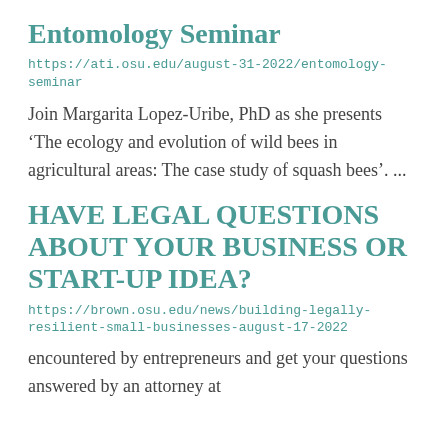Entomology Seminar
https://ati.osu.edu/august-31-2022/entomology-seminar
Join Margarita Lopez-Uribe, PhD as she presents ‘The ecology and evolution of wild bees in agricultural areas: The case study of squash bees’. ...
HAVE LEGAL QUESTIONS ABOUT YOUR BUSINESS OR START-UP IDEA?
https://brown.osu.edu/news/building-legally-resilient-small-businesses-august-17-2022
encountered by entrepreneurs and get your questions answered by an attorney at